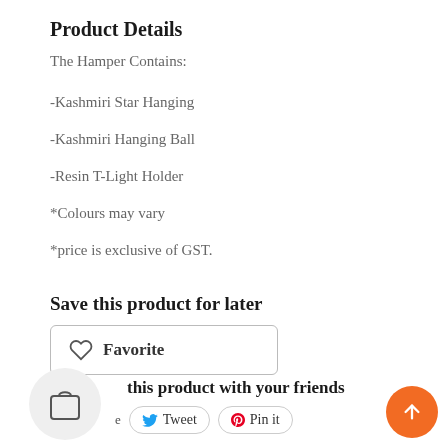Product Details
The Hamper Contains:
-Kashmiri Star Hanging
-Kashmiri Hanging Ball
-Resin T-Light Holder
*Colours may vary
*price is exclusive of GST.
Save this product for later
Favorite
this product with your friends
Tweet  Pin it